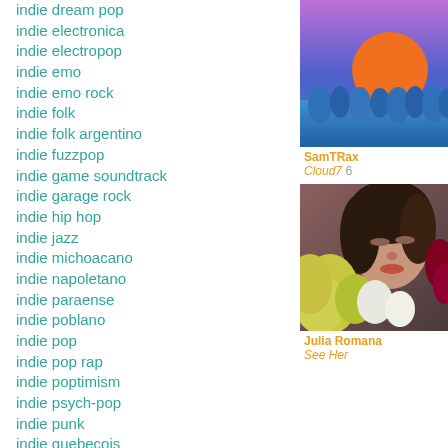indie dream pop
indie electronica
indie electropop
indie emo
indie emo rock
indie folk
indie folk argentino
indie fuzzpop
indie game soundtrack
indie garage rock
indie hip hop
indie jazz
indie michoacano
indie napoletano
indie paraense
indie poblano
indie pop
indie pop rap
indie poptimism
indie psych-pop
indie punk
indie quebecois
indie queretano
indie r&b
indie rock
[Figure (photo): Album art for SamTRax Cloud7 6 — orange sun over blue landscape]
SamTRax
Cloud7 6
[Figure (photo): Album art for Julia Romana See Her — woman with flowers]
Julia Romana
See Her